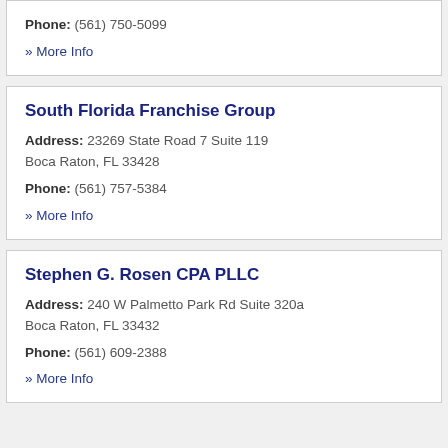Phone: (561) 750-5099
» More Info
South Florida Franchise Group
Address: 23269 State Road 7 Suite 119 Boca Raton, FL 33428
Phone: (561) 757-5384
» More Info
Stephen G. Rosen CPA PLLC
Address: 240 W Palmetto Park Rd Suite 320a Boca Raton, FL 33432
Phone: (561) 609-2388
» More Info